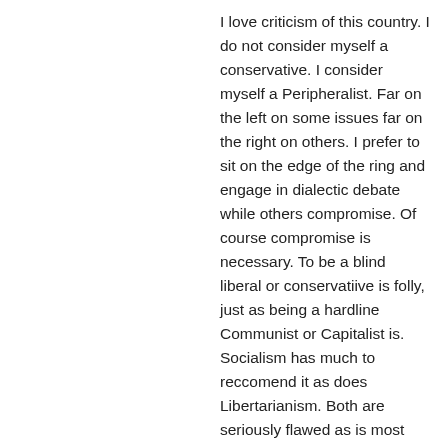I love criticism of this country. I do not consider myself a conservative. I consider myself a Peripheralist. Far on the left on some issues far on the right on others. I prefer to sit on the edge of the ring and engage in dialectic debate while others compromise. Of course compromise is necessary. To be a blind liberal or conservatiive is folly, just as being a hardline Communist or Capitalist is. Socialism has much to reccomend it as does Libertarianism. Both are seriously flawed as is most everything in this life. There is no way to heaven but through Christ, but I also know that I am not Christ, and to be a member of the body politic is to have convictions one is willing to die for, and also to take life in the defense of. I know treason when I hear it and enemies when I see them. I hope they give their hearts to Jesus, because...ak, I will let that one go as well.